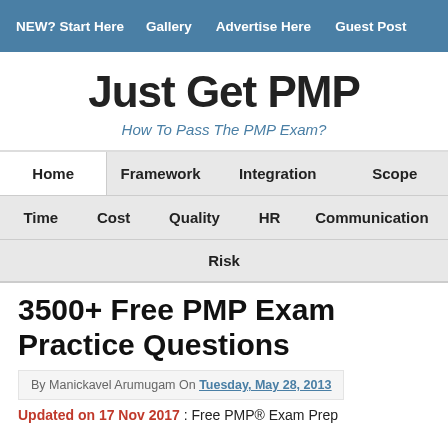NEW? Start Here | Gallery | Advertise Here | Guest Post
Just Get PMP
How To Pass The PMP Exam?
Home | Framework | Integration | Scope | Time | Cost | Quality | HR | Communication | Risk
3500+ Free PMP Exam Practice Questions
By Manickavel Arumugam On Tuesday, May 28, 2013
Updated on 17 Nov 2017 : Free PMP® Exam Prep